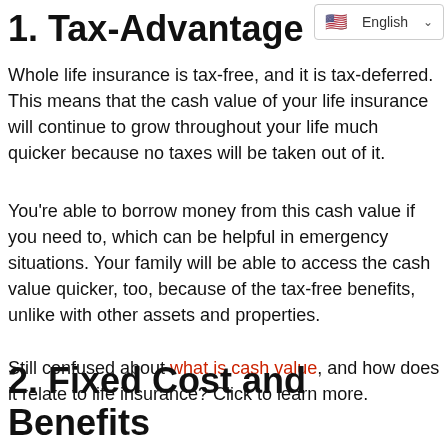1. Tax-Advantage
Whole life insurance is tax-free, and it is tax-deferred. This means that the cash value of your life insurance will continue to grow throughout your life much quicker because no taxes will be taken out of it.
You're able to borrow money from this cash value if you need to, which can be helpful in emergency situations. Your family will be able to access the cash value quicker, too, because of the tax-free benefits, unlike with other assets and properties.
Still confused about what is cash value, and how does it relate to life insurance? Click to learn more.
2. Fixed Cost and Benefits